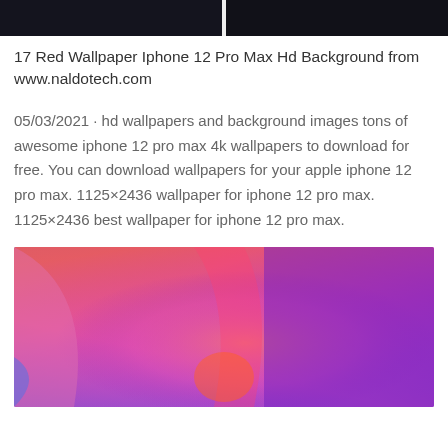[Figure (photo): Two dark phone wallpaper thumbnail images side by side at the top of the page]
17 Red Wallpaper Iphone 12 Pro Max Hd Background from www.naldotech.com
05/03/2021 · hd wallpapers and background images tons of awesome iphone 12 pro max 4k wallpapers to download for free. You can download wallpapers for your apple iphone 12 pro max. 1125×2436 wallpaper for iphone 12 pro max. 1125×2436 best wallpaper for iphone 12 pro max.
[Figure (photo): Colorful gradient wallpaper image with pink, purple, orange, and blue hues — iPhone 12 Pro Max wallpaper example]